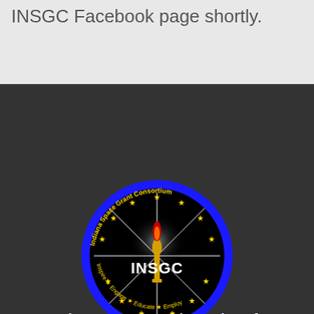INSGC Facebook page shortly.
[Figure (logo): INSGC (Indiana Space Grant Consortium) circular logo with dark blue border, yellow stars, torch with red flame, rays of light, and text 'Inspire · Engage · Educate · Employ' around the bottom]
Engaging STEM Education for the State of Indiana
Home